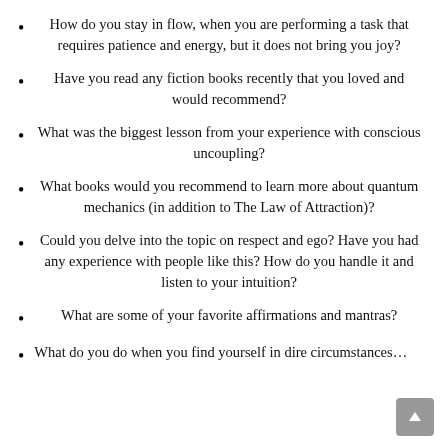How do you stay in flow, when you are performing a task that requires patience and energy, but it does not bring you joy?
Have you read any fiction books recently that you loved and would recommend?
What was the biggest lesson from your experience with conscious uncoupling?
What books would you recommend to learn more about quantum mechanics (in addition to The Law of Attraction)?
Could you delve into the topic on respect and ego? Have you had any experience with people like this? How do you handle it and listen to your intuition?
What are some of your favorite affirmations and mantras?
What do you do when you find yourself in dire circumstances…